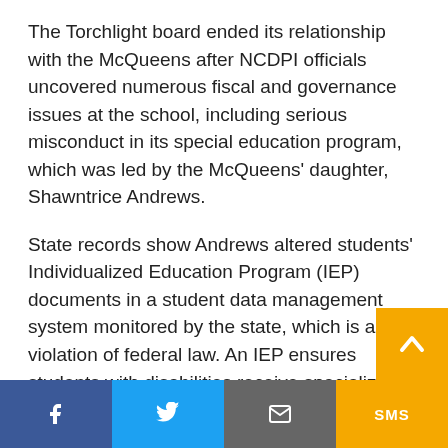The Torchlight board ended its relationship with the McQueens after NCDPI officials uncovered numerous fiscal and governance issues at the school, including serious misconduct in its special education program, which was led by the McQueens' daughter, Shawntrice Andrews.
State records show Andrews altered students' Individualized Education Program (IEP) documents in a student data management system monitored by the state, which is a violation of federal law. An IEP ensures students with disabilities receive specialized instruction and related services.
Sherry Thomas, director of the Exception Chi… Division at NCDPI, told the FICS panel that sh…